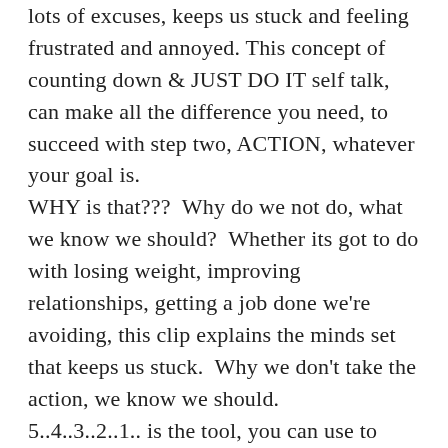lots of excuses, keeps us stuck and feeling frustrated and annoyed. This concept of counting down & JUST DO IT self talk, can make all the difference you need, to succeed with step two, ACTION, whatever your goal is. WHY is that???  Why do we not do, what we know we should?  Whether its got to do with losing weight, improving relationships, getting a job done we're avoiding, this clip explains the minds set that keeps us stuck.  Why we don't take the action, we know we should. 5..4..3..2..1.. is the tool, you can use to interrupt your brain pathways from travelling down the habitual path and to be re-directed into a